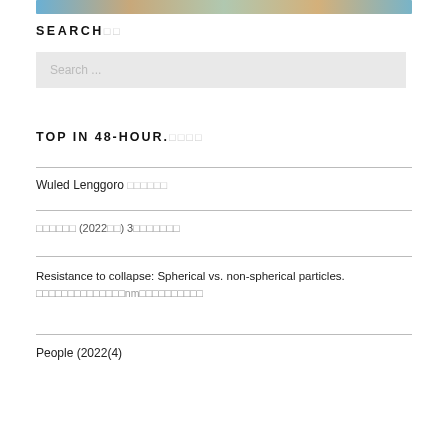[Figure (photo): Partial top image strip, likely a photo banner]
SEARCH󰀀󰀀
Search ...
TOP IN 48-HOUR.󰀀󰀀󰀀󰀀
Wuled Lenggoro 󰀀󰀀󰀀󰀀󰀀󰀀
󰀀󰀀󰀀󰀀󰀀󰀀 (2022󰀀󰀀) 3󰀀󰀀󰀀󰀀󰀀󰀀󰀀
Resistance to collapse: Spherical vs. non-spherical particles. 󰀀󰀀󰀀󰀀󰀀󰀀󰀀󰀀󰀀󰀀󰀀󰀀󰀀󰀀nm󰀀󰀀󰀀󰀀󰀀󰀀󰀀󰀀󰀀󰀀
People (2022(4)